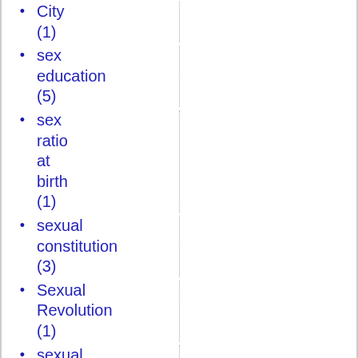City (1)
sex education (5)
sex ratio at birth (1)
sexual constitution (3)
Sexual Revolution (1)
sexual revolution (4)
sexuality (3)
Sexuality (3)
shadow banking